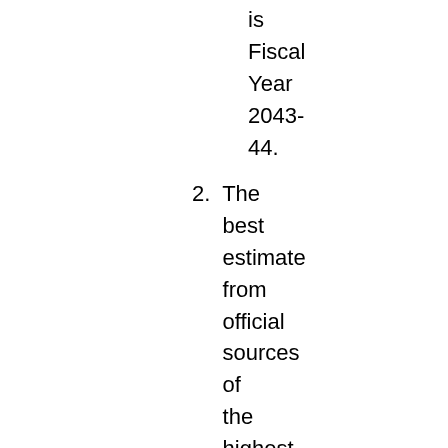is Fiscal Year 2043-44.
2. The best estimate from official sources of the highest tax rate that would be required to be